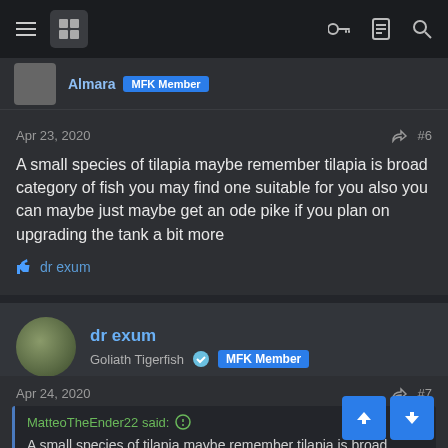Navigation bar with menu, logo, key, document, and search icons
Almara MFK Member
Apr 23, 2020  #6
A small species of tilapia maybe remember tilapia is broad category of fish you may find one suitable for you also you can maybe just maybe get an ode pike if you plan on upgrading the tank a bit more
dr exum
dr exum
Goliath Tigerfish  MFK Member
Apr 24, 2020  #7
MatteoTheEnder22 said:
A small species of tilapia maybe remember tilapia is broad category of fish you may find one suitable for you also you can maybe just